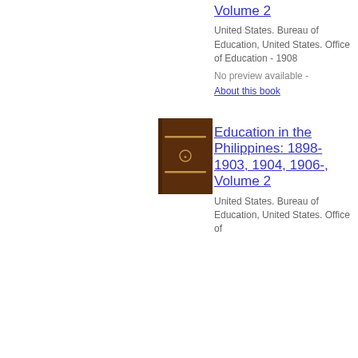Volume 2
United States. Bureau of Education, United States. Office of Education - 1908
No preview available -
About this book
[Figure (photo): Brown book cover thumbnail for Education in the Philippines]
Education in the Philippines: 1898-1903, 1904, 1906-, Volume 2
United States. Bureau of Education, United States. Office of